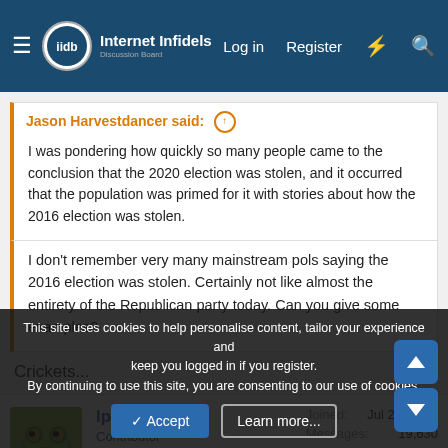Internet Infidels — Log in | Register
Jason Harvestdancer said: ↑
I was pondering how quickly so many people came to the conclusion that the 2020 election was stolen, and it occurred that the population was primed for it with stories about how the 2016 election was stolen.
I don't remember very many mainstream pols saying the 2016 election was stolen. Certainly not like almost the entirety of the Republican party today. Can you give some examples?
Crickets...
lpetrich
Contributor
Joined: Jul 28, 2000
Messages: 19,630
Location: Eugene, OR
Gender: Male
This site uses cookies to help personalise content, tailor your experience and keep you logged in if you register.
By continuing to use this site, you are consenting to our use of cookies.